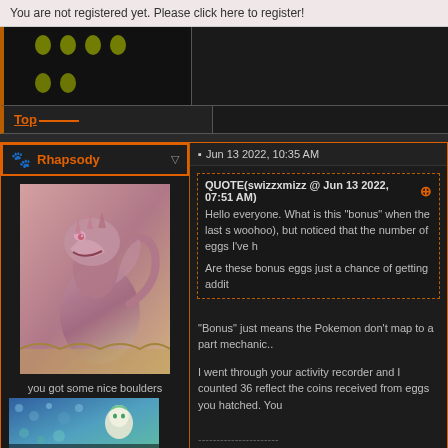You are not registered yet. Please click here to register!
[Figure (screenshot): Dark forum post row showing egg sprites on black background]
Top
Rhapsody
Jun 13 2022, 10:35 AM
[Figure (illustration): Fantasy dragon creature illustration - pink/purple dragon with open mouth]
you got some nice boulders
[Figure (screenshot): Global Moderator badge/image with blue background and cute green-haired character]
QUOTE(swizzxmizz @ Jun 13 2022, 07:51 AM)
Hello everyone. What is this "bonus" when the last s woohoo), but noticed that the number of eggs I've h
Are these bonus eggs just a chance of getting addit
"Bonus" just means the Pokemon don't map to a part mechanic..
I went through your activity recorder and I counted 36 reflect the coins received from eggs you hatched. You
----------------------